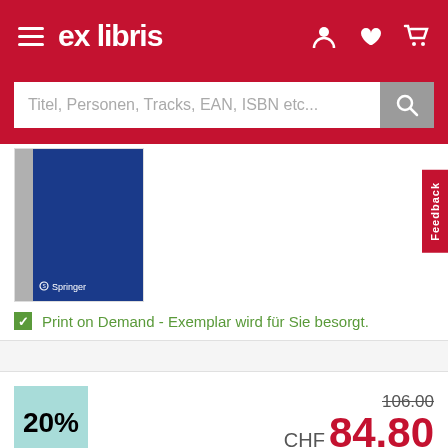ex libris
Titel, Personen, Tracks, EAN, ISBN etc...
[Figure (photo): Book cover thumbnail with blue Springer cover shown against a gray spine background]
Print on Demand - Exemplar wird für Sie besorgt.
20%
106.00  CHF 84.80
In den Warenkorb